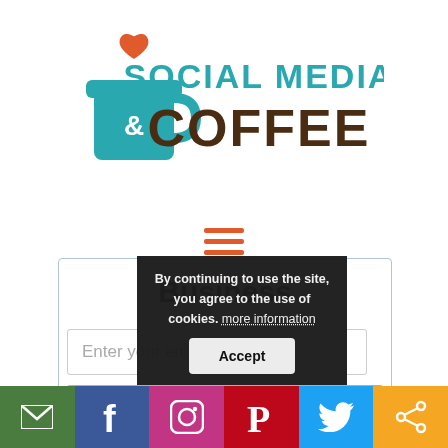[Figure (logo): Social Media & Coffee logo with teal coffee cup icon and heart, teal text 'SOCIAL MEDIA' above dark brown text 'COFFEE']
[Figure (other): Hamburger/menu icon (three horizontal orange lines)]
Business
Enter your email...
DOWNLOAD NOW!
Give it a try. You can unsubscribe at any time.
By continuing to use the site, you agree to the use of cookies. more information
Accept
[Figure (other): Social media sharing bar with email, Facebook, Instagram, Pinterest, Twitter, and share icons]